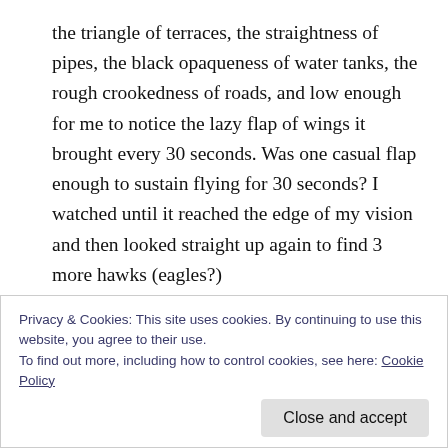the triangle of terraces, the straightness of pipes, the black opaqueness of water tanks, the rough crookedness of roads, and low enough for me to notice the lazy flap of wings it brought every 30 seconds. Was one casual flap enough to sustain flying for 30 seconds? I watched until it reached the edge of my vision and then looked straight up again to find 3 more hawks (eagles?)
—
In my dream this morning, I saw an open tap next to my bed. If only it had drinking water, I thought – I'd never
Privacy & Cookies: This site uses cookies. By continuing to use this website, you agree to their use.
To find out more, including how to control cookies, see here: Cookie Policy